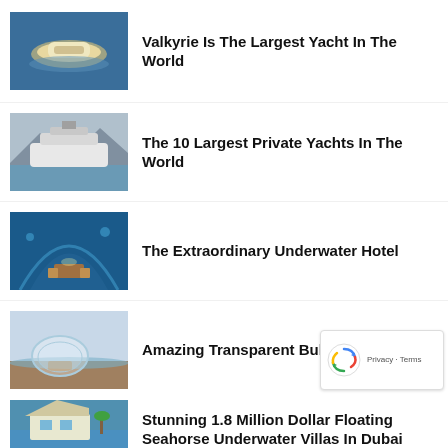Valkyrie Is The Largest Yacht In The World
The 10 Largest Private Yachts In The World
The Extraordinary Underwater Hotel
Amazing Transparent Bubble Tent
Stunning 1.8 Million Dollar Floating Seahorse Underwater Villas In Dubai